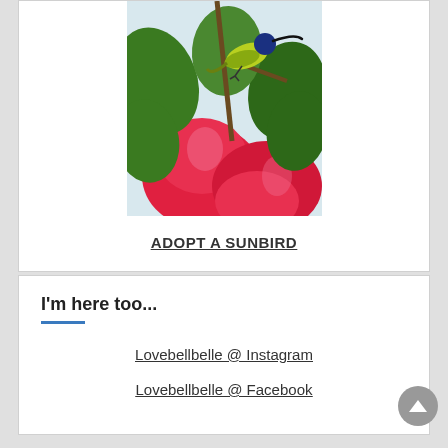[Figure (photo): A sunbird perched on a branch near red hibiscus flowers, with green foliage in the background. The bird has a yellow-green body and dark blue head.]
ADOPT A SUNBIRD
I'm here too...
Lovebellbelle @ Instagram
Lovebellbelle @ Facebook